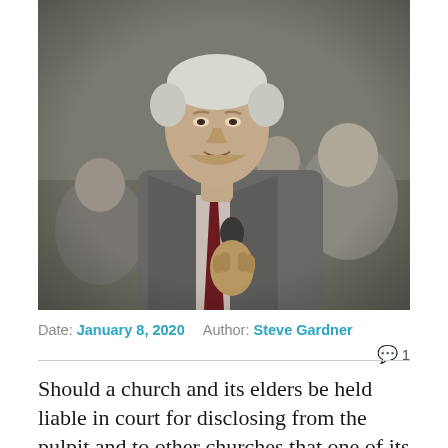[Figure (photo): A middle-aged man with white/grey hair in a grey suit and dark red tie, holding a microphone, speaking at what appears to be a church or public gathering. Several people are visible in the background. The image appears to be a video still, slightly grainy.]
Date: January 8, 2020  Author: Steve Gardner  💬 1
Should a church and its elders be held liable in court for disclosing from the pulpit and to other churches that one of its members